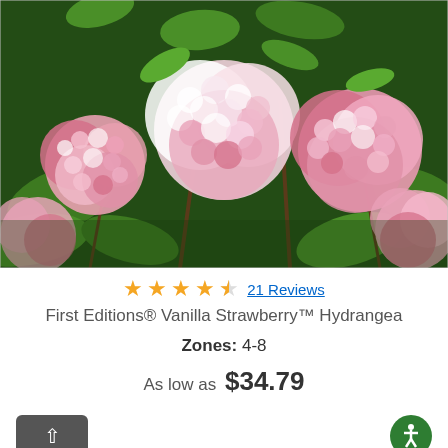[Figure (photo): Close-up photo of pink and white hydrangea flower clusters (Vanilla Strawberry Hydrangea) with green leaves in background]
★★★★½ 21 Reviews
First Editions® Vanilla Strawberry™ Hydrangea
Zones: 4-8
As low as $34.79